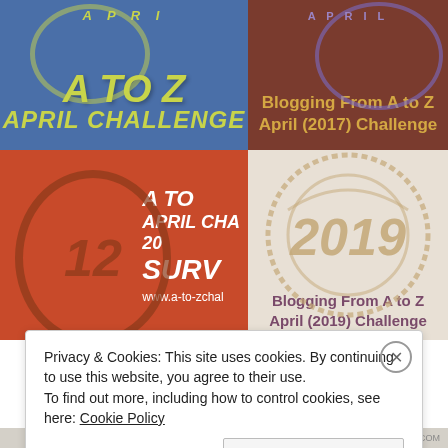[Figure (illustration): 2x2 grid of A to Z April Blogging Challenge logos: top-left blue background with yellow text 'A TO Z APRIL CHALLENGE', top-right brown background with gold text 'Blogging From A to Z April (2017) Challenge', bottom-left red/orange background with white text 'A TO APRIL CHA 20 SURV www.a-to-zchal' and number 12 stamp, bottom-right light background with gold 2019 stamp and purple text 'Blogging From A to Z April (2019) Challenge']
Privacy & Cookies: This site uses cookies. By continuing to use this website, you agree to their use.
To find out more, including how to control cookies, see here: Cookie Policy
Close and accept